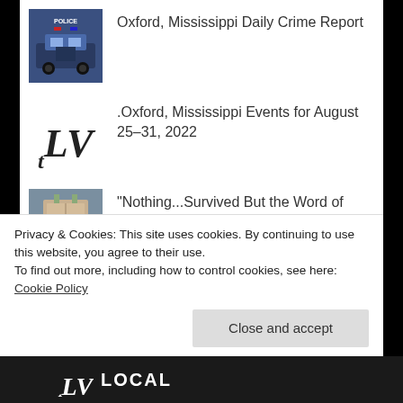Oxford, Mississippi Daily Crime Report
.Oxford, Mississippi Events for August 25–31, 2022
"Nothing...Survived But the Word of God": 180-Year-Old Bible Miraculously Endures After Inferno Turns Historic Church Into "Scene of Complete Devastation"
University of Mississippi to Dedicate Ole Miss Student Union Name…
Privacy & Cookies: This site uses cookies. By continuing to use this website, you agree to their use.
To find out more, including how to control cookies, see here: Cookie Policy
Close and accept
tLV LOCAL